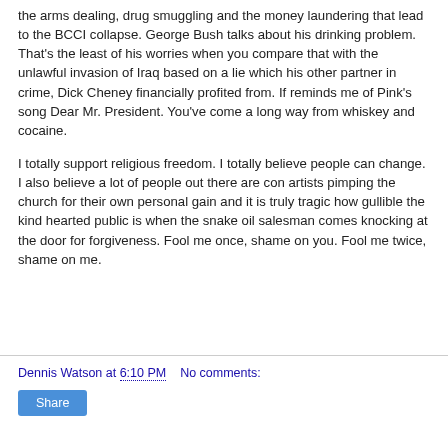the arms dealing, drug smuggling and the money laundering that lead to the BCCI collapse. George Bush talks about his drinking problem. That's the least of his worries when you compare that with the unlawful invasion of Iraq based on a lie which his other partner in crime, Dick Cheney financially profited from. If reminds me of Pink's song Dear Mr. President. You've come a long way from whiskey and cocaine.
I totally support religious freedom. I totally believe people can change. I also believe a lot of people out there are con artists pimping the church for their own personal gain and it is truly tragic how gullible the kind hearted public is when the snake oil salesman comes knocking at the door for forgiveness. Fool me once, shame on you. Fool me twice, shame on me.
Dennis Watson at 6:10 PM   No comments:   Share